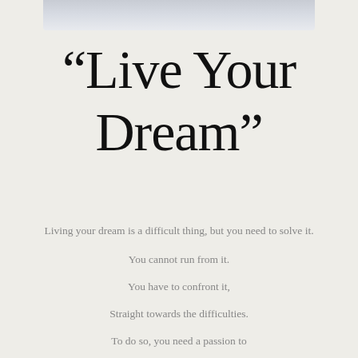[Figure (photo): Gray gradient banner image at the top of the page]
“Live Your Dream”
Living your dream is a difficult thing, but you need to solve it.
You cannot run from it.
You have to confront it,
Straight towards the difficulties.
To do so, you need a passion to